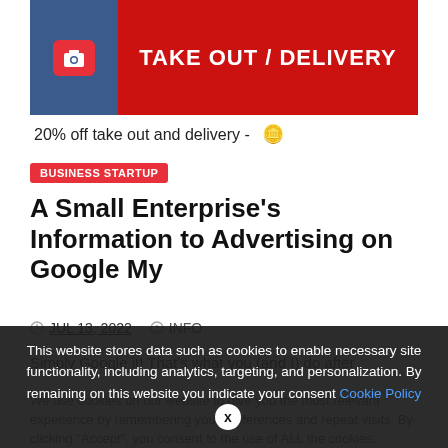[Figure (photo): Screenshot of a restaurant/food business promotion banner showing a camera icon on blue background on left, and red 'TAKE OUT / DELIVERY' banner on right, with text '20% off take out and delivery -' below]
BUSINESS STARTUP
A Small Enterprise's Information to Advertising on Google My
JUL 13, 2022   INFO
Simply Google it! That's what you (and I) do after
We use cookies on our website to give you the most relevant experience by remembering your preferences and repeat visits. By clicking "Accept", you consent to the use of ALL the cookies. However, you may visit "Cookie Settings" to
This website stores data such as cookies to enable necessary site functionality, including analytics, targeting, and personalization. By remaining on this website you indicate your consent Cookie Policy